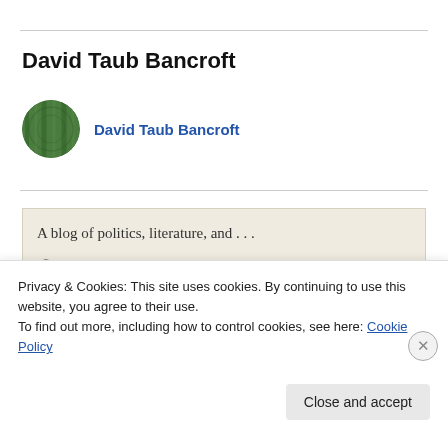David Taub Bancroft
[Figure (photo): Circular avatar thumbnail showing a green watermelon surface texture]
David Taub Bancroft
A blog of politics, literature, and . . .
weekly posts on a fortnightly basis once every month or two
foreign funded
Privacy & Cookies: This site uses cookies. By continuing to use this website, you agree to their use.
To find out more, including how to control cookies, see here: Cookie Policy